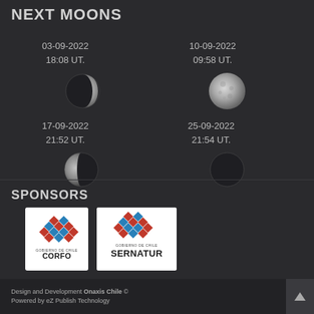NEXT MOONS
03-09-2022
18:08 UT.
[Figure (illustration): Moon phase - first quarter crescent, illuminated on right side]
17-09-2022
21:52 UT.
[Figure (illustration): Moon phase - waning crescent]
10-09-2022
09:58 UT.
[Figure (illustration): Full moon]
25-09-2022
21:54 UT.
[Figure (illustration): Moon phase - waning crescent, thin sliver on right]
SPONSORS
[Figure (logo): CORFO - Gobierno de Chile logo with red and blue diamond shapes on white circular background]
[Figure (logo): SERNATUR - Gobierno de Chile logo with red and blue diamond shapes]
Design and Development Onaxis Chile ©
Powered by eZ Publish Technology